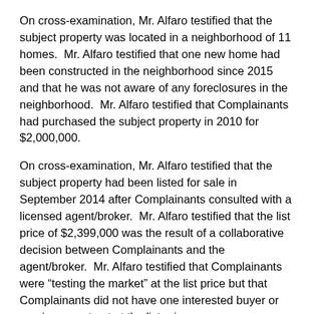On cross-examination, Mr. Alfaro testified that the subject property was located in a neighborhood of 11 homes. Mr. Alfaro testified that one new home had been constructed in the neighborhood since 2015 and that he was not aware of any foreclosures in the neighborhood. Mr. Alfaro testified that Complainants had purchased the subject property in 2010 for $2,000,000.
On cross-examination, Mr. Alfaro testified that the subject property had been listed for sale in September 2014 after Complainants consulted with a licensed agent/broker. Mr. Alfaro testified that the list price of $2,399,000 was the result of a collaborative decision between Complainants and the agent/broker. Mr. Alfaro testified that Complainants were “testing the market” at the list price but that Complainants did not have one interested buyer or receive a contract at the list price.
With regard to Complainants’ exhibits, Mr. Alfaro testified that he had conducted research into the nature of the comparable s… he knew the identity of the selling parties but not the buying…